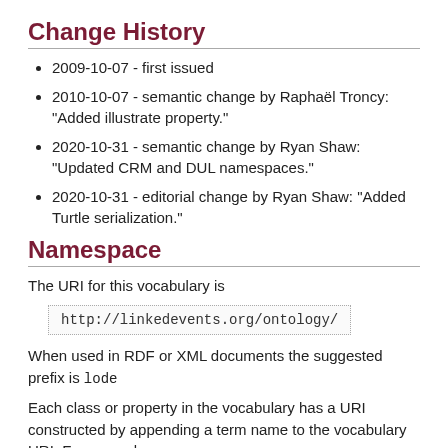Change History
2009-10-07 - first issued
2010-10-07 - semantic change by Raphaël Troncy: "Added illustrate property."
2020-10-31 - semantic change by Ryan Shaw: "Updated CRM and DUL namespaces."
2020-10-31 - editorial change by Ryan Shaw: "Added Turtle serialization."
Namespace
The URI for this vocabulary is
http://linkedevents.org/ontology/
When used in RDF or XML documents the suggested prefix is lode
Each class or property in the vocabulary has a URI constructed by appending a term name to the vocabulary URI. For example: